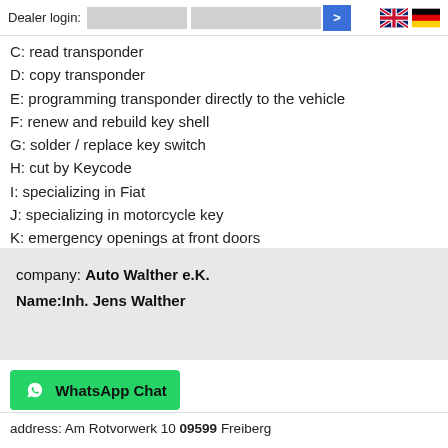Dealer login:
C: read transponder
D: copy transponder
E: programming transponder directly to the vehicle
F: renew and rebuild key shell
G: solder / replace key switch
H: cut by Keycode
I: specializing in Fiat
J: specializing in motorcycle key
K: emergency openings at front doors
L: emergency openings in vehicles
N: specializing in BMW
M: remote key + programming
Other Services:
company: Auto Walther e.K.
Name:Inh. Jens Walther
WhatsApp Chat
address: Am Rotvorwerk 10 09599 Freiberg